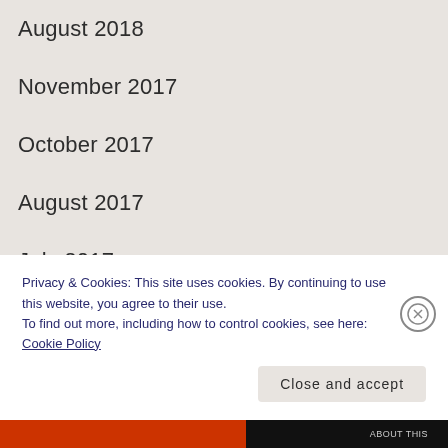August 2018
November 2017
October 2017
August 2017
July 2017
June 2017
May 2017
March 2017
Privacy & Cookies: This site uses cookies. By continuing to use this website, you agree to their use.
To find out more, including how to control cookies, see here: Cookie Policy